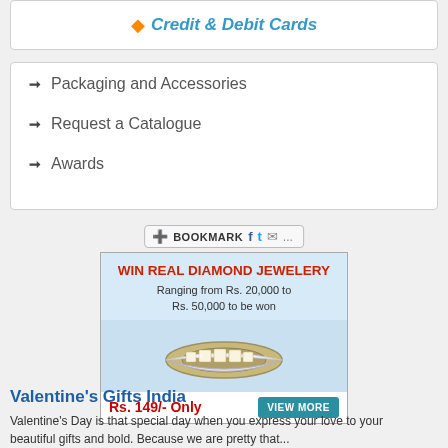Credit & Debit Cards
Packaging and Accessories
Request a Catalogue
Awards
[Figure (screenshot): Bookmark social sharing bar with icons for Facebook, Twitter, Email]
[Figure (infographic): WIN REAL DIAMOND JEWELERY - Ranging from Rs. 20,000 to Rs. 50,000 to be won. Diamond ring image. Rs. 149/- Only | VIEW MORE button]
Valentine's Gifts India
Valentine's Day is that special day when you express your love to your